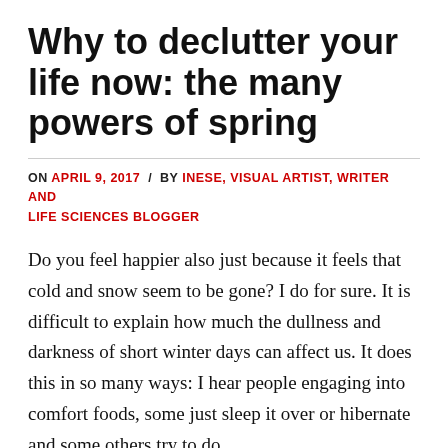Why to declutter your life now: the many powers of spring
ON APRIL 9, 2017 / BY INESE, VISUAL ARTIST, WRITER AND LIFE SCIENCES BLOGGER
Do you feel happier also just because it feels that cold and snow seem to be gone? I do for sure. It is difficult to explain how much the dullness and darkness of short winter days can affect us. It does this in so many ways: I hear people engaging into comfort foods, some just sleep it over or hibernate and some others try to do